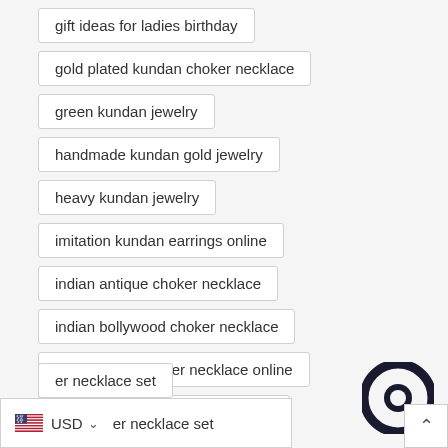gift ideas for ladies birthday
gold plated kundan choker necklace
green kundan jewelry
handmade kundan gold jewelry
heavy kundan jewelry
imitation kundan earrings online
indian antique choker necklace
indian bollywood choker necklace
indian bridal choker necklace online
indian bridal choker necklace set
indian choker necklace gold
er necklace set
[Figure (infographic): Currency selector showing USD with US flag and dropdown arrow, partially overlapping a tag item. Also a circular chat icon (dark ring) in the bottom right corner, and a scroll-to-top button.]